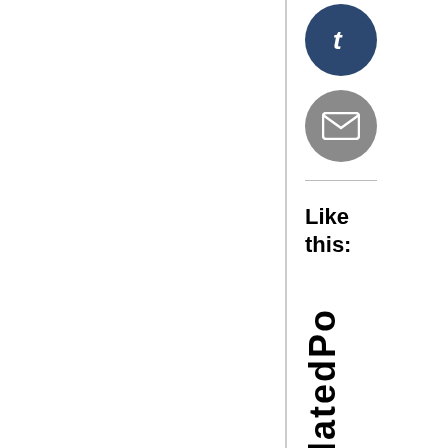[Figure (illustration): Tumblr social share icon — dark navy blue circle with white lowercase 't' letter]
[Figure (illustration): Email/envelope social share icon — grey circle with white envelope icon]
Like this:
RelatedPo